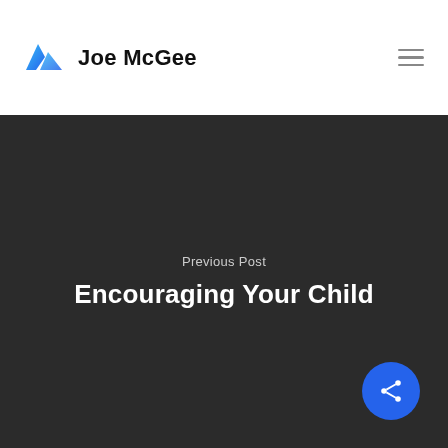Joe McGee
Previous Post
Encouraging Your Child